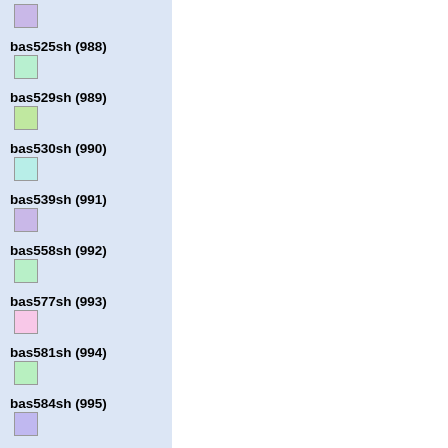bas525sh (988)
bas529sh (989)
bas530sh (990)
bas539sh (991)
bas558sh (992)
bas577sh (993)
bas581sh (994)
bas584sh (995)
bas598sh (996)